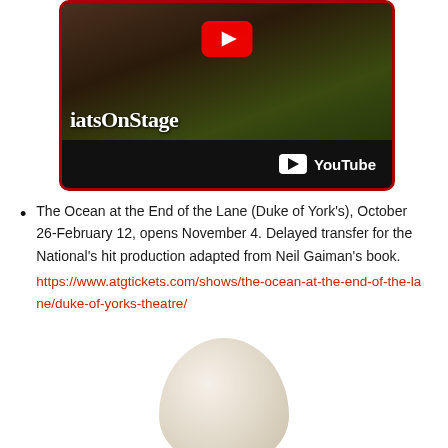[Figure (screenshot): YouTube video thumbnail showing WhatsOnStage branding with a scene from a production, featuring the YouTube play button and logo bar at the bottom]
The Ocean at the End of the Lane (Duke of York's), October 26-February 12, opens November 4. Delayed transfer for the National's hit production adapted from Neil Gaiman's book.
https://www.atgtickets.com/shows/the-ocean-at-the-end-of-the-lane/duke-of-yorks-theatre/
[Figure (photo): Partial image of a smooth egg-shaped or circular white/cream object at the bottom of the page]